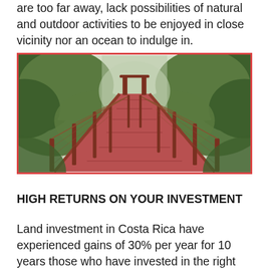are too far away, lack possibilities of natural and outdoor activities to be enjoyed in close vicinity nor an ocean to indulge in.
[Figure (photo): A red suspension bridge with metal cables and posts stretching into a misty tropical rainforest, with dense green foliage on both sides. Perspective view from one end of the bridge looking down the length toward the far end disappearing into fog.]
HIGH RETURNS ON YOUR INVESTMENT
Land investment in Costa Rica have experienced gains of 30% per year for 10 years those who have invested in the right place have